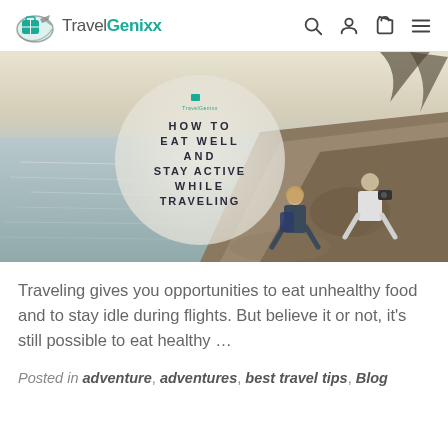TravelGenixx
[Figure (photo): Hero blog image showing ocean view on the left and people sitting on rocks on the right, with a circular translucent overlay containing the text 'HOW TO EAT WELL AND STAY ACTIVE WHILE TRAVELING' and a TravelGenixx logo]
Traveling gives you opportunities to eat unhealthy food and to stay idle during flights. But believe it or not, it's still possible to eat healthy ...
Posted in adventure, adventures, best travel tips, Blog